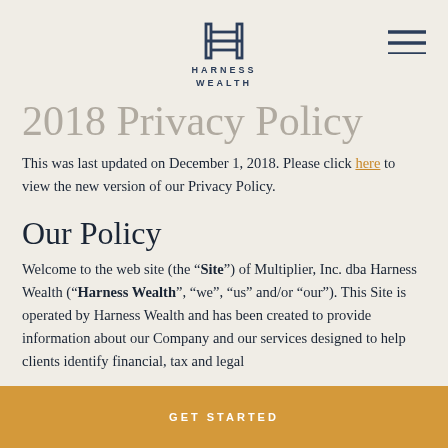[Figure (logo): Harness Wealth logo — stylized H letterform above text HARNESS WEALTH in spaced capitals]
[Figure (other): Hamburger menu icon — three horizontal lines in dark navy]
2018 Privacy Policy
This was last updated on December 1, 2018. Please click here to view the new version of our Privacy Policy.
Our Policy
Welcome to the web site (the “Site”) of Multiplier, Inc. dba Harness Wealth (“Harness Wealth”, “we”, “us” and/or “our”). This Site is operated by Harness Wealth and has been created to provide information about our Company and our services designed to help clients identify financial, tax and legal
GET STARTED